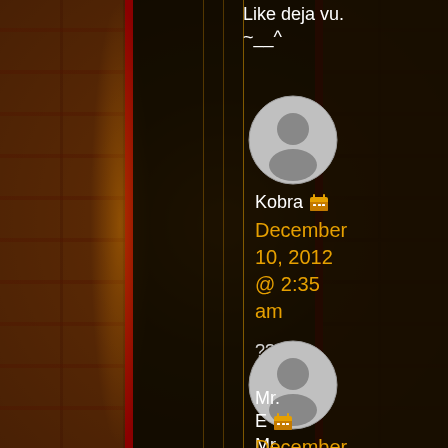Like deja vu.
~__^
[Figure (other): User avatar silhouette circle for user Kobra]
Kobra [calendar icon] December 10, 2012 @ 2:35 am
???
[Figure (other): User avatar silhouette circle for user Mr. E]
Mr. E [calendar icon] December